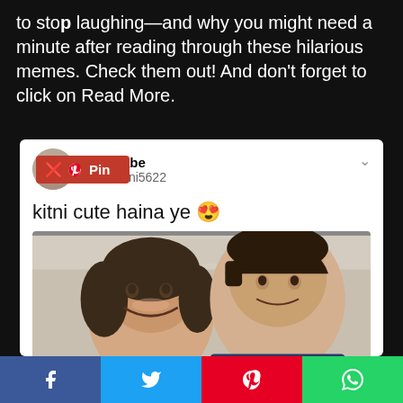to stop laughing—and why you might need a minute after reading through these hilarious memes. Check them out! And don't forget to click on Read More.
[Figure (screenshot): A tweet screenshot from user 'kingbabe' (@shivani5622) with a Pinterest Pin button overlay. The tweet text says 'kitni cute haina ye 😍' with a selfie photo of a smiling young woman and a young man with styled dark hair.]
[Figure (infographic): Social share bar at the bottom with four buttons: Facebook (blue), Twitter (cyan), Pinterest (red), WhatsApp (green).]